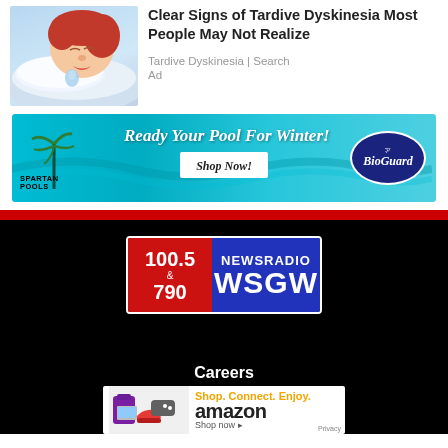[Figure (illustration): Cartoon illustration of a sleeping woman drooling onto a pillow]
Clear Signs of Tardive Dyskinesia Most People May Not Realize
Tardive Dyskinesia | Search
Ad
[Figure (infographic): Spartan Pools and BioGuard advertisement banner: Ready Your Pool For Winter! Shop Now!]
[Figure (logo): 100.5 & 790 NEWSRADIO WSGW logo on black background]
Careers
[Figure (infographic): Amazon advertisement: Shop. Connect. Enjoy. Shop now]